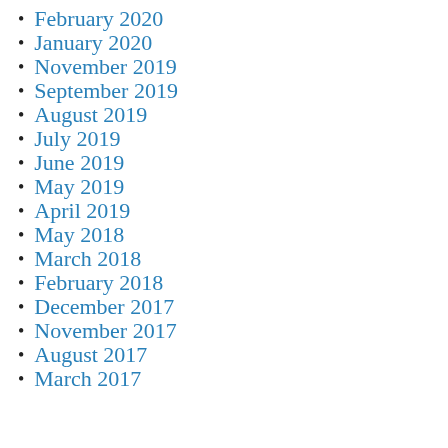February 2020
January 2020
November 2019
September 2019
August 2019
July 2019
June 2019
May 2019
April 2019
May 2018
March 2018
February 2018
December 2017
November 2017
August 2017
March 2017